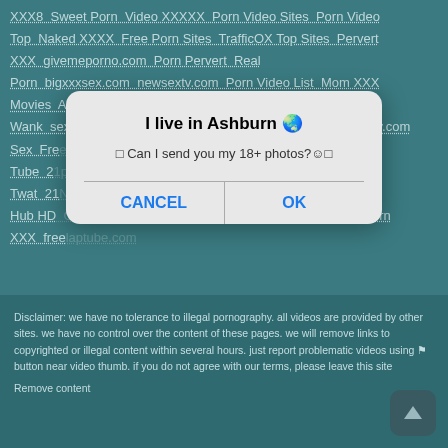XXX8  Sweet Porn  Video XXXXX  Porn Video Sites  Porn Video  Top  Naked XXXX  Free Porn Sites  TrafficOX Top Sites  Pervert XXX  givemeporno.com  Porn Pervert  Real Porn  bigxxxsex.com  newsextv.com  Porn Video List  Mom XXX Movies  Any Sex Hub  Sly Porn  Full Wank  sexadulter.net  lustplace.com  sexfilmed.com  pornyummy.com  Sex  Free Porn Tube  21porno.com  apeofporn.com  OkayXXX.com  eFal Twat  21Non.com  2xHoster.com  YesPorn  pornfassy.com  Sex Hub HD  Chase Base  punksextube.com  hornp...com  Large Porn XXX  freelaptube.com
[Figure (screenshot): Modal dialog popup overlay on top of adult website link list. Dialog has rounded rectangle shape with light gray background. Title reads 'I live in Ashburn' with globe emoji. Body text reads 'Can I send you my 18+ photos?' with smiley and square emoji. Two buttons at bottom: CANCEL (left) and OK (right) in blue text.]
Disclaimer: we have no tolerance to illegal pornography. all videos are provided by other sites. we have no control over the content of these pages. we will remove links to copyrighted or illegal content within several hours. just report problematic videos using flag button near video thumb. if you do not agree with our terms, please leave this site
Remove content